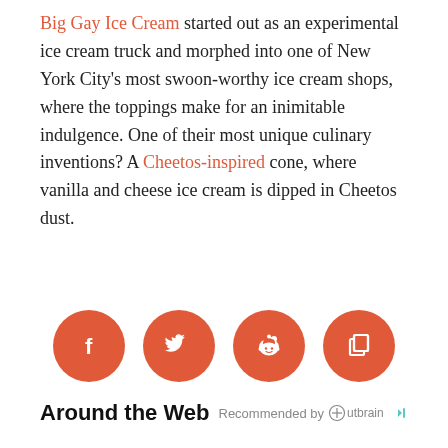Big Gay Ice Cream started out as an experimental ice cream truck and morphed into one of New York City's most swoon-worthy ice cream shops, where the toppings make for an inimitable indulgence. One of their most unique culinary inventions? A Cheetos-inspired cone, where vanilla and cheese ice cream is dipped in Cheetos dust.
[Figure (other): Four salmon/coral colored circular social media share buttons in a row: Facebook (f), Twitter (bird), Reddit (alien face), and copy/share (square with arrow)]
Around the Web
Recommended by Outbrain